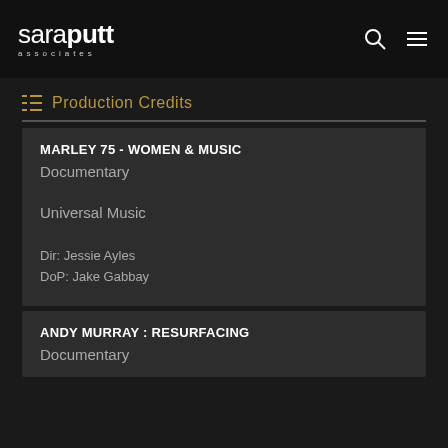saraputt associates
Production Credits
MARLEY 75 - WOMEN & MUSIC
Documentary
Universal Music
Dir: Jessie Ayles
DoP: Jake Gabbay
ANDY MURRAY : RESURFACING
Documentary